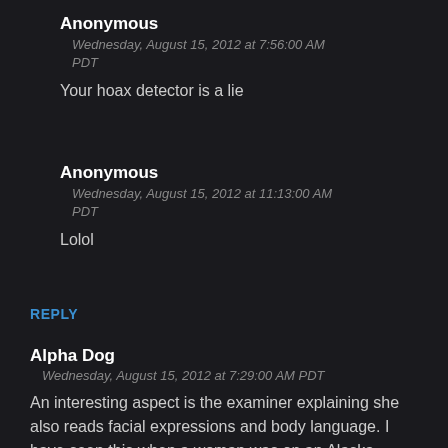Anonymous
Wednesday, August 15, 2012 at 7:56:00 AM PDT
Your hoax detector is a lie
Anonymous
Wednesday, August 15, 2012 at 11:13:00 AM PDT
Lolol
REPLY
Alpha Dog
Wednesday, August 15, 2012 at 7:29:00 AM PDT
An interesting aspect is the examiner explaining she also reads facial expressions and body language. I have seen this when a woman was on an Alaska Mysterious Encounters program a couple years ago, when